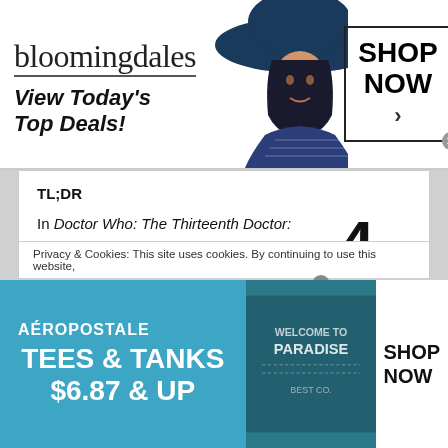[Figure (advertisement): Bloomingdales banner ad: logo text 'bloomingdales', tagline 'View Today's Top Deals!', woman in hat, 'SHOP NOW >' box]
TL;DR
In Doctor Who: The Thirteenth Doctor: Year 2 #1, the plot is easy to follow. The characters say what they are going to set out to do and they go about it leading to the mystery needing to be solved… Although not a lot goes on in this issue, the tone is set and issues to follow should make for an interesting
[Figure (infographic): Score: 4 out of 5 stars (4 orange filled stars, 1 light blue empty star)]
Privacy & Cookies: This site uses cookies. By continuing to use this website,
[Figure (advertisement): Aeropostale banner ad: 'TEES & TANKS $6.87 & UP', SHOP NOW]